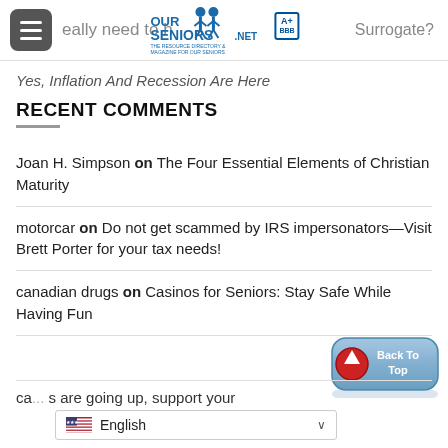OurSeniors.net — The Resource Directory & Magazine For Our Seniors
eally need to h... Surrogate?
Yes, Inflation And Recession Are Here
RECENT COMMENTS
Joan H. Simpson on The Four Essential Elements of Christian Maturity
motorcar on Do not get scammed by IRS impersonators—Visit Brett Porter for your tax needs!
canadian drugs on Casinos for Seniors: Stay Safe While Having Fun
ca... s are going up, support your